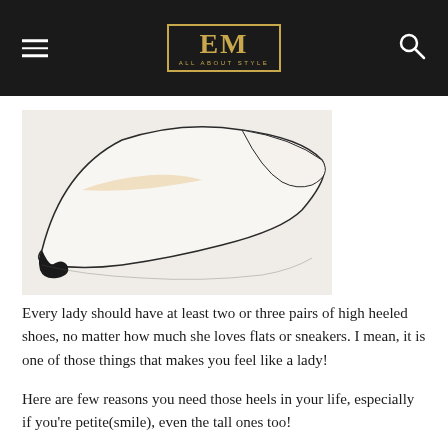EM All About Style
[Figure (photo): Close-up photo of a pointed-toe white high-heeled shoe against a white background]
Every lady should have at least two or three pairs of high heeled shoes, no matter how much she loves flats or sneakers. I mean, it is one of those things that makes you feel like a lady!
Here are few reasons you need those heels in your life, especially if you're petite(smile), even the tall ones too!
1) Heels add height